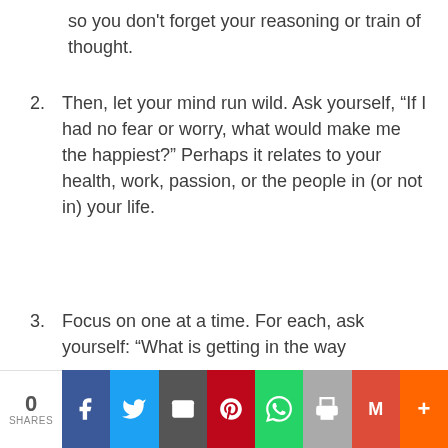so you don't forget your reasoning or train of thought.
2. Then, let your mind run wild. Ask yourself, “If I had no fear or worry, what would make me the happiest?” Perhaps it relates to your health, work, passion, or the people in (or not in) your life.
3. Focus on one at a time. For each, ask yourself: “What is getting in the way
0 SHARES | Facebook | Twitter | Email | Pinterest | WhatsApp | Print | Gmail | More